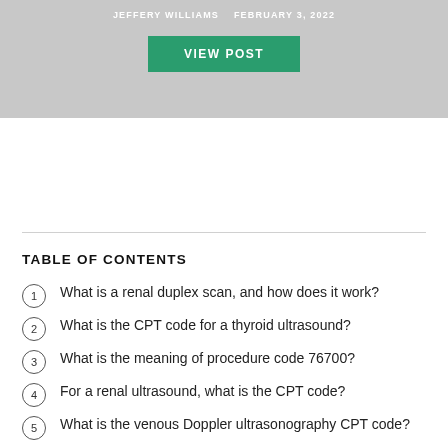JEFFERY WILLIAMS   FEBRUARY 3, 2022
[Figure (other): Gray banner with VIEW POST button]
TABLE OF CONTENTS
1  What is a renal duplex scan, and how does it work?
2  What is the CPT code for a thyroid ultrasound?
3  What is the meaning of procedure code 76700?
4  For a renal ultrasound, what is the CPT code?
5  What is the venous Doppler ultrasonography CPT code?